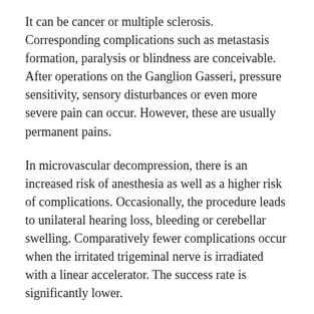It can be cancer or multiple sclerosis. Corresponding complications such as metastasis formation, paralysis or blindness are conceivable. After operations on the Ganglion Gasseri, pressure sensitivity, sensory disturbances or even more severe pain can occur. However, these are usually permanent pains.
In microvascular decompression, there is an increased risk of anesthesia as well as a higher risk of complications. Occasionally, the procedure leads to unilateral hearing loss, bleeding or cerebellar swelling. Comparatively fewer complications occur when the irritated trigeminal nerve is irradiated with a linear accelerator. The success rate is significantly lower.
When should you go to the doctor?
Since trigeminal neuralgia is accompanied by massive facial pain, the person concerned should see a doctor as soon as possible. This must determine whether there was a specific